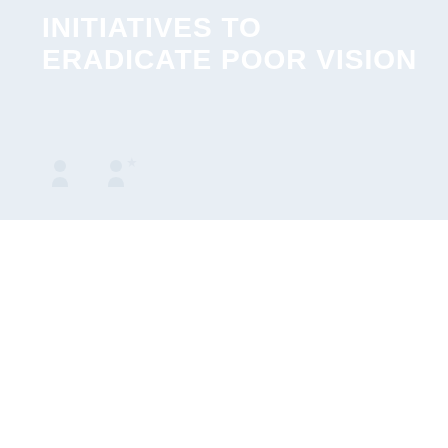INITIATIVES TO ERADICATE POOR VISION
[Figure (illustration): Two small icons of people (silhouettes) in the lower portion of the header section]
(Charenton-le-Pont - France, March 1 2018) – Essilor today announces that it will invest a further €19M in its philanthropic and inclusive business activities whose shared goal is to eradicate poor vision in one generation. This investment follows on from a one-off dividend tax refund from the French tax authorities, which Essilor's Board of Directors has decided to allocate to activities that support the Company's mission, and in particular its goals to improve awareness and create sustainable vision care infrastructure for the 2.5 billion people in the world living with uncorrected poor vision.